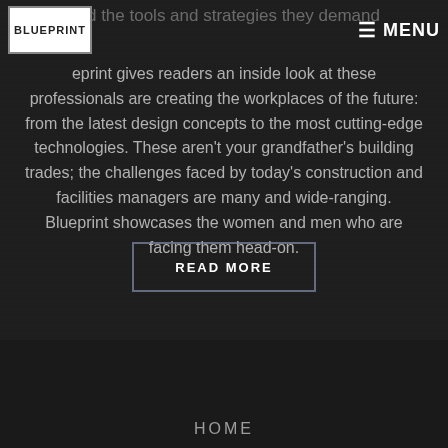and the tools and strategies they demand
[Figure (logo): Blueprint logo — white box with BLUEPRINT text in dark letters]
≡ MENU
eprint gives readers an inside look at these professionals are creating the workplaces of the future: from the latest design concepts to the most cutting-edge technologies. These aren't your grandfather's building trades; the challenges faced by today's construction and facilities managers are many and wide-ranging. Blueprint showcases the women and men who are facing them head-on.
READ MORE
HOME